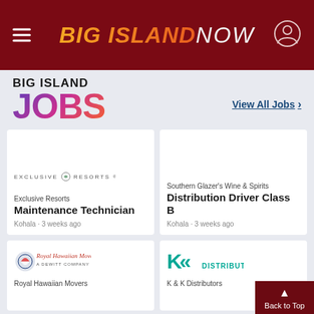BIG ISLAND NOW
[Figure (logo): Big Island Jobs logo with colorful gradient JOBS text]
View All Jobs >
[Figure (logo): Exclusive Resorts logo]
Exclusive Resorts
Maintenance Technician
Kohala · 3 weeks ago
Southern Glazer's Wine & Spirits
Distribution Driver Class B
Kohala · 3 weeks ago
[Figure (logo): Royal Hawaiian Movers - A DeWitt Company logo]
Royal Hawaiian Movers
[Figure (logo): K & K Distributors logo with teal double-K mark]
K & K Distributors